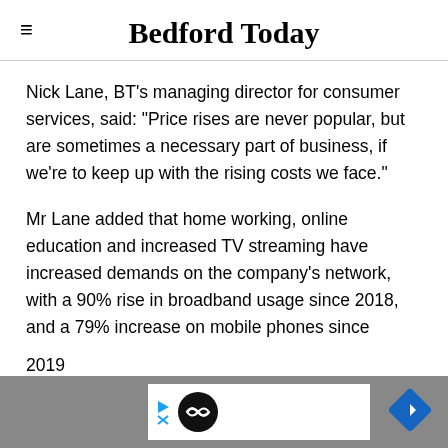Bedford Today
Nick Lane, BT’s managing director for consumer services, said: “Price rises are never popular, but are sometimes a necessary part of business, if we’re to keep up with the rising costs we face.”
Mr Lane added that home working, online education and increased TV streaming have increased demands on the company’s network, with a 90% rise in broadband usage since 2018, and a 79% increase on mobile phones since 2019